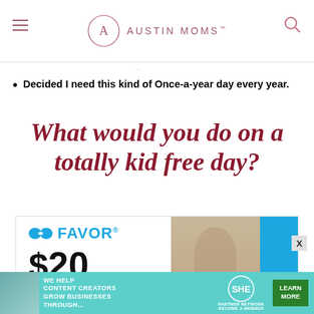AUSTIN MOMS™
…(faint truncated text)…
Decided I need this kind of Once-a-year day every year.
What would you do on a totally kid free day?
[Figure (photo): Favor delivery service advertisement showing logo, '$20' offer, and a woman with child on right side with blue background.]
[Figure (infographic): Bottom banner advertisement: 'WE HELP CONTENT CREATORS GROW BUSINESSES THROUGH...' with SHE Partner Network logo and LEARN MORE green button.]